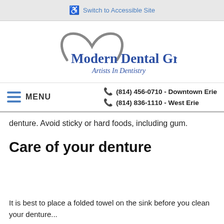Switch to Accessible Site
[Figure (logo): Modern Dental Group – Artists In Dentistry logo with grey heart/tooth arc above the blue text]
MENU  |  (814) 456-0710 - Downtown Erie  |  (814) 836-1110 - West Erie
denture. Avoid sticky or hard foods, including gum.
Care of your denture
It is best to place a folded towel on the sink before you clean your denture...